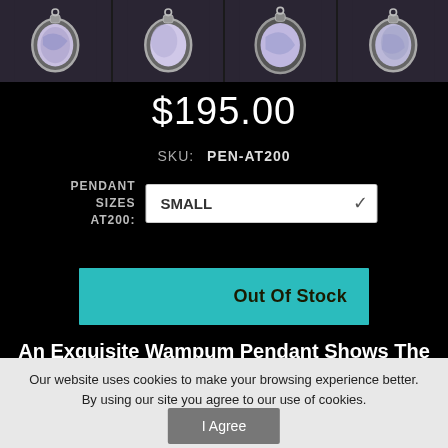[Figure (photo): Four pendant jewelry items displayed on a dark wooden background, showing wampum shell pendants in silver settings from different angles.]
$195.00
SKU: PEN-AT200
PENDANT SIZES AT200: SMALL
Out Of Stock
An Exquisite Wampum Pendant Shows The Beauty And Detailed Work Of Native American Craftsmanship
Our website uses cookies to make your browsing experience better. By using our site you agree to our use of cookies.
Learn More
I Agree